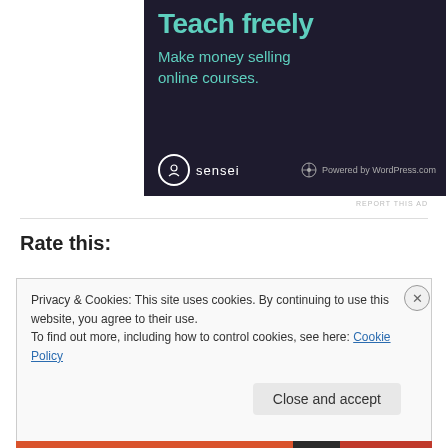[Figure (illustration): Advertisement banner for Sensei/WordPress.com with dark background showing 'Teach freely' headline in teal, 'Make money selling online courses.' subtitle in teal, Sensei logo and Powered by WordPress.com branding at bottom]
REPORT THIS AD
Rate this:
Privacy & Cookies: This site uses cookies. By continuing to use this website, you agree to their use.
To find out more, including how to control cookies, see here: Cookie Policy